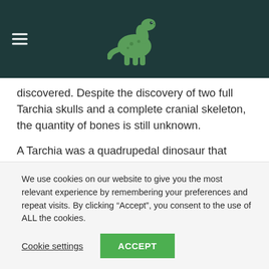[dinosaur website header with hamburger menu and dinosaur logo]
discovered. Despite the discovery of two full Tarchia skulls and a complete cranial skeleton, the quantity of bones is still unknown.
A Tarchia was a quadrupedal dinosaur that walked on four legs. Tarchia is one of the largest ankylosaurids ever discovered, measuring over eight metres in length. The Tarchia was between 5.5 and 8.5 meters long and
We use cookies on our website to give you the most relevant experience by remembering your preferences and repeat visits. By clicking “Accept”, you consent to the use of ALL the cookies.
Cookie settings  ACCEPT